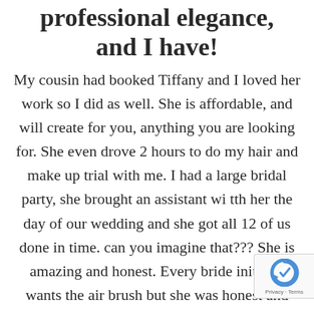professional elegance, and I have!
My cousin had booked Tiffany and I loved her work so I did as well. She is affordable, and will create for you, anything you are looking for. She even drove 2 hours to do my hair and make up trial with me. I had a large bridal party, she brought an assistant wi tth her the day of our wedding and she got all 12 of us done in time. can you imagine that??? She is amazing and honest. Every bride initially wants the air brush but she was honest and said with my skin type
[Figure (logo): reCAPTCHA badge with Google reCAPTCHA logo and Privacy - Terms links]